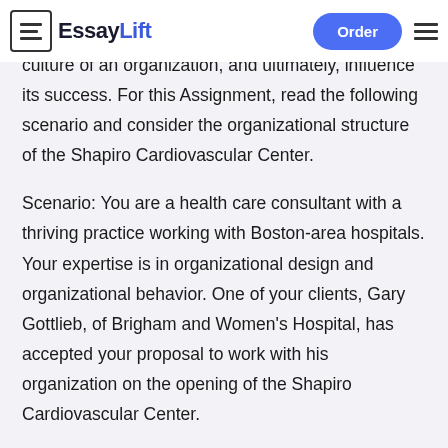EssayLift | Order
culture of an organization, and ultimately, influence its success. For this Assignment, read the following scenario and consider the organizational structure of the Shapiro Cardiovascular Center.
Scenario: You are a health care consultant with a thriving practice working with Boston-area hospitals. Your expertise is in organizational design and organizational behavior. One of your clients, Gary Gottlieb, of Brigham and Women's Hospital, has accepted your proposal to work with his organization on the opening of the Shapiro Cardiovascular Center.
In your consulting experience, you have found that reviewing the history of organizational theory helps management teams creatively approach the